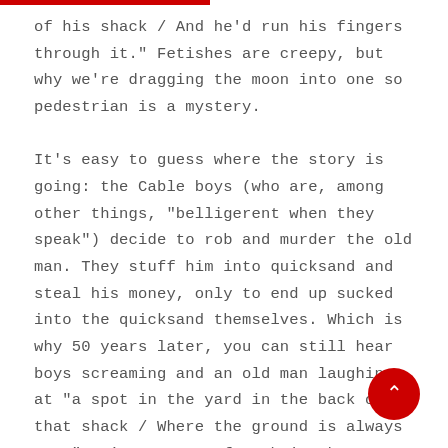of his shack / And he'd run his fingers through it." Fetishes are creepy, but why we're dragging the moon into one so pedestrian is a mystery.

It's easy to guess where the story is going: the Cable boys (who are, among other things, "belligerent when they speak") decide to rob and murder the old man. They stuff him into quicksand and steal his money, only to end up sucked into the quicksand themselves. Which is why 50 years later, you can still hear boys screaming and an old man laughing at "a spot in the yard in the back of that shack / Where the ground is always wet." It's a swamp, fer chrissakes. Isn't a swamp always wet, even if nobody's been murdered there for revenge? Granted, if you realized you were about to be murdered for revenge you might make a wet spot, but I don't think that's what